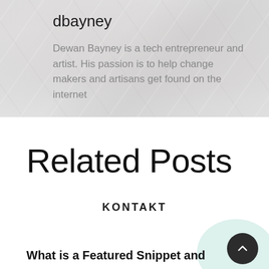[Figure (photo): Profile banner with marble/stone texture background]
dbayney
Dewan Bayney is a tech entrepreneur and artist. His passion is to help change makers and artisans get found on the internet
Related Posts
[Figure (logo): KONTAKT logo text in bold spaced capitals]
What is a Featured Snippet and